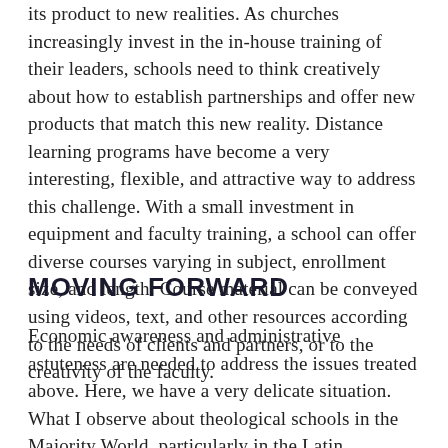its product to new realities. As churches increasingly invest in the in-house training of their leaders, schools need to think creatively about how to establish partnerships and offer new products that match this new reality. Distance learning programs have become a very interesting, flexible, and attractive way to address this challenge. With a small investment in equipment and faculty training, a school can offer diverse courses varying in subject, enrollment size, and length. Course material can be conveyed using videos, text, and other resources according to the needs of clients and partners, or to the creativity of the faculty.
MOVING FORWARD
Economic awareness and administrative astuteness are needed to address the issues treated above. Here, we have a very delicate situation. What I observe about theological schools in the Majority World, particularly in the Latin American context, is that they are led mostly by well-